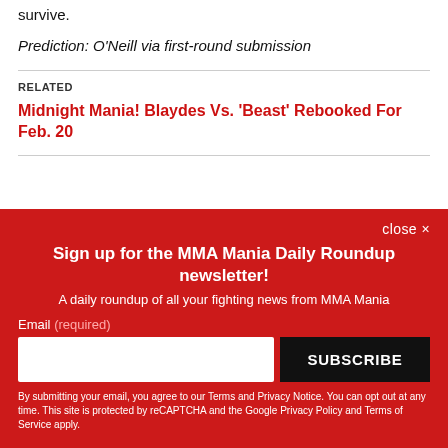survive.
Prediction: O'Neill via first-round submission
RELATED
Midnight Mania! Blaydes Vs. 'Beast' Rebooked For Feb. 20
close ×
Sign up for the MMA Mania Daily Roundup newsletter!
A daily roundup of all your fighting news from MMA Mania
Email (required)
SUBSCRIBE
By submitting your email, you agree to our Terms and Privacy Notice. You can opt out at any time. This site is protected by reCAPTCHA and the Google Privacy Policy and Terms of Service apply.